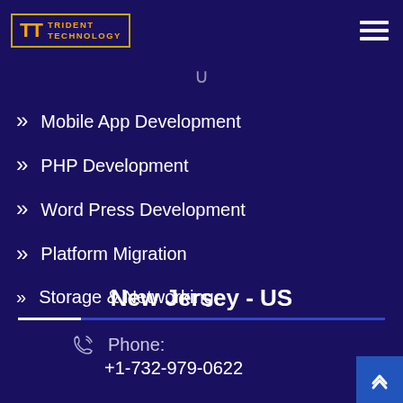[Figure (logo): Trident Technology logo — two TT letters in yellow/orange inside a bordered box, with TRIDENT TECHNOLOGY text]
Mobile App Development
PHP Development
Word Press Development
Platform Migration
Storage & Networking
New Jersey - US
Phone: +1-732-979-0622